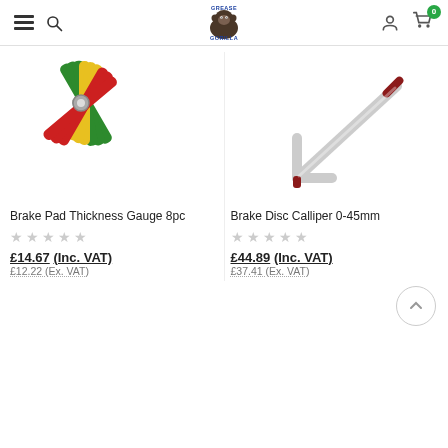Grease Gorilla — navigation header with hamburger menu, search, logo, user icon, cart (0)
[Figure (photo): Brake Pad Thickness Gauge 8pc — fan of coloured plastic feeler gauges (red, yellow, green) on a silver pivot]
Brake Pad Thickness Gauge 8pc
★★★★★ (empty stars)
£14.67 (Inc. VAT)
£12.22 (Ex. VAT)
[Figure (photo): Brake Disc Calliper 0-45mm — L-shaped silver metal calliper with red grip handle]
Brake Disc Calliper 0-45mm
★★★★★ (empty stars)
£44.89 (Inc. VAT)
£37.41 (Ex. VAT)